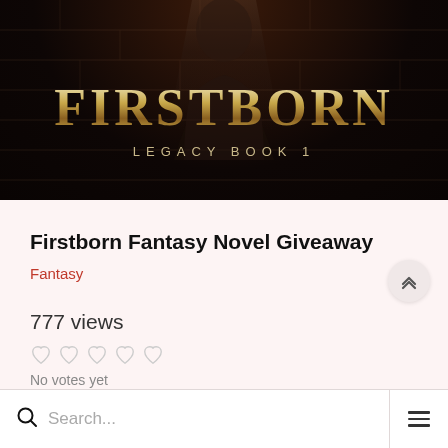[Figure (illustration): Book cover for 'Firstborn Legacy Book 1' — dark fantasy aesthetic with a hooded figure silhouette against a stone wall background. Large gold metallic text reads FIRSTBORN and below it LEGACY BOOK 1 in spaced letters.]
Firstborn Fantasy Novel Giveaway
Fantasy
777 views
No votes yet
Search...